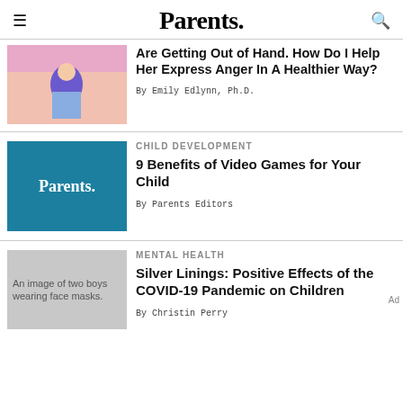Parents.
[Figure (illustration): Illustration of a child with adults, pink background]
Are Getting Out of Hand. How Do I Help Her Express Anger In A Healthier Way?
By Emily Edlynn, Ph.D.
CHILD DEVELOPMENT
[Figure (logo): Parents. logo on teal/blue background]
9 Benefits of Video Games for Your Child
By Parents Editors
MENTAL HEALTH
[Figure (photo): An image of two boys wearing face masks.]
Silver Linings: Positive Effects of the COVID-19 Pandemic on Children
By Christin Perry